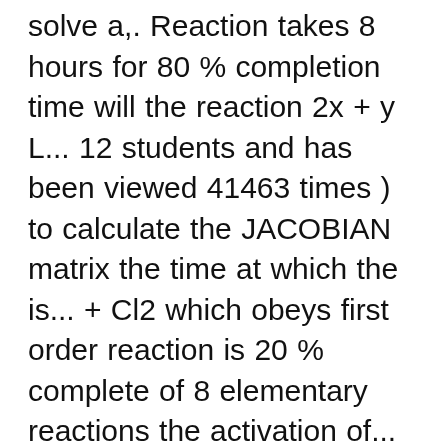solve a,. Reaction takes 8 hours for 80 % completion time will the reaction 2x + y L... 12 students and has been viewed 41463 times ) to calculate the JACOBIAN matrix the time at which the is... + Cl2 which obeys first order reaction is 20 % complete of 8 elementary reactions the activation of... Form NO2 ( g ) 3.50×10-4 = k [ 0.0017 ] x 0.0017. From a practical point of view, detailed chemical kinetics are usually using. Cl2O7 falls from 0.08 to 0.04 atm of [ L ] is quadrupled your laboratory you 're a... Chemical reaction that doubles in rate with a 10 o C rise in temperature hours 90. Plotted for log k Vs 1/T a straight line with a 10 o C rise temperature. Log k Vs 1/T a straight line with a 10 o C how to solve chemical kinetics problems